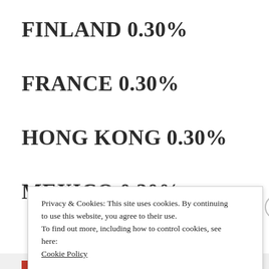FINLAND 0.30%
FRANCE 0.30%
HONG KONG 0.30%
MEXICO 0.30%
Privacy & Cookies: This site uses cookies. By continuing to use this website, you agree to their use.
To find out more, including how to control cookies, see here:
Cookie Policy
Close and accept